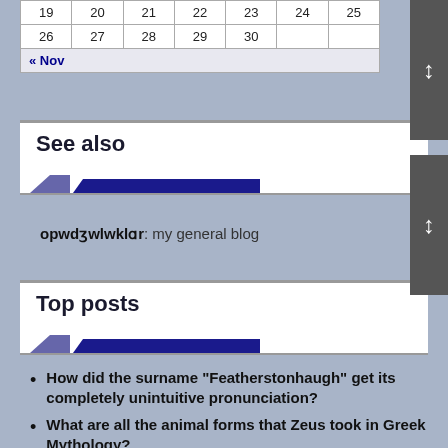| 19 | 20 | 21 | 22 | 23 | 24 | 25 |
| 26 | 27 | 28 | 29 | 30 |  |  |
| « Nov |  |  |  |  |  |  |
See also
opwdʒwlwklɑr: my general blog
Top posts
How did the surname "Featherstonhaugh" get its completely unintuitive pronunciation?
What are all the animal forms that Zeus took in Greek Mythology?